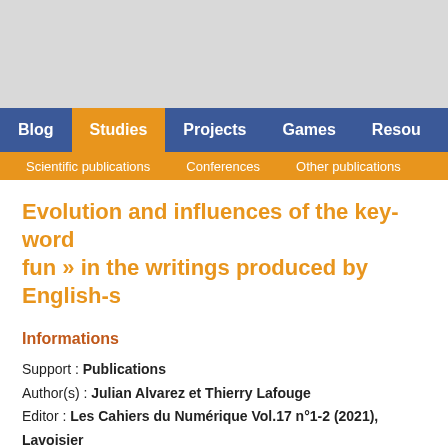Blog | Studies | Projects | Games | Resou
Scientific publications | Conferences | Other publications
Evolution and influences of the key-word « fun » in the writings produced by English-s
Informations
Support : Publications
Author(s) : Julian Alvarez et Thierry Lafouge
Editor : Les Cahiers du Numérique Vol.17 n°1-2 (2021), Lavoisier
Date : 2022
Lang : 🇫🇷
Description